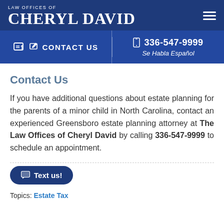LAW OFFICES OF CHERYL DAVID
CONTACT US | 336-547-9999 Se Habla Español
Contact Us
If you have additional questions about estate planning for the parents of a minor child in North Carolina, contact an experienced Greensboro estate planning attorney at The Law Offices of Cheryl David by calling 336-547-9999 to schedule an appointment.
Text us!
Topics: Estate Tax